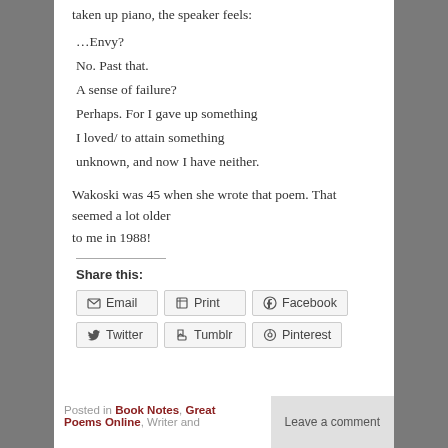taken up piano, the speaker feels:
…Envy?
No. Past that.
A sense of failure?
Perhaps. For I gave up something
I loved/ to attain something
unknown, and now I have neither.
Wakoski was 45 when she wrote that poem. That seemed a lot older to me in 1988!
Share this:
Email  Print  Facebook  Twitter  Tumblr  Pinterest
Posted in Book Notes, Great Poems Online, Writer and
Leave a comment